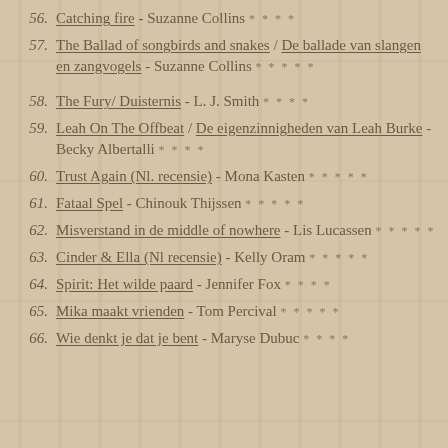56. Catching fire - Suzanne Collins * * * *
57. The Ballad of songbirds and snakes / De ballade van slangen en zangvogels - Suzanne Collins * * * * *
58. The Fury/ Duisternis - L. J. Smith * * * *
59. Leah On The Offbeat / De eigenzinnigheden van Leah Burke - Becky Albertalli * * * *
60. Trust Again (Nl. recensie) - Mona Kasten * * * * *
61. Fataal Spel - Chinouk Thijssen * * * * *
62. Misverstand in de middle of nowhere - Lis Lucassen * * * * *
63. Cinder & Ella (Nl recensie) - Kelly Oram * * * * *
64. Spirit: Het wilde paard - Jennifer Fox * * * *
65. Mika maakt vrienden - Tom Percival * * * * *
66. Wie denkt je dat je bent - Maryse Dubuc * * * *